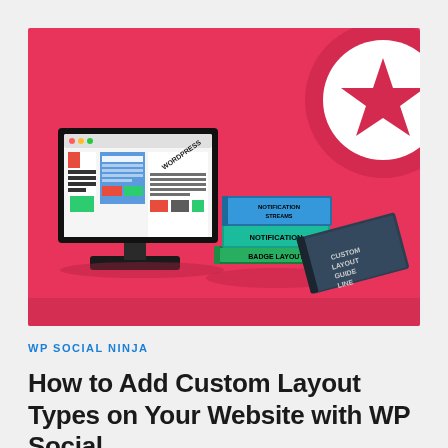[Figure (illustration): Promotional illustration on a pink/red background showing a computer monitor displaying a WordPress layout, stacked books labeled 'Notification Streams', 'Notification', 'Badge Layout' in blue and green, a dark book labeled 'Custom Layout Guide Line', and a partial circular logo with a star in the upper right corner.]
WP SOCIAL NINJA
How to Add Custom Layout Types on Your Website with WP Social Ninja